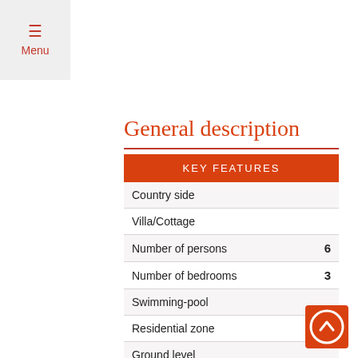≡ Menu
General description
| KEY FEATURES |  |
| --- | --- |
| Country side |  |
| Villa/Cottage |  |
| Number of persons | 6 |
| Number of bedrooms | 3 |
| Swimming-pool |  |
| Residential zone |  |
| Ground level |  |
| View on the hills |  |
| View on the country side |  |
| View on the garden |  |